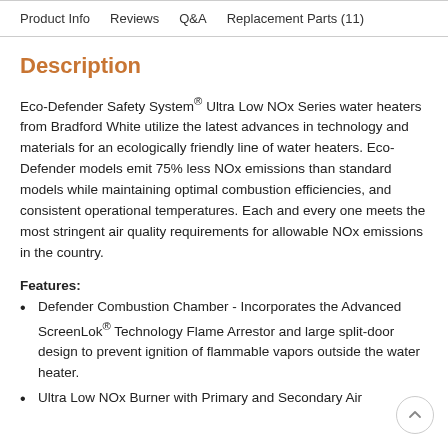Product Info   Reviews   Q&A   Replacement Parts (11)
Description
Eco-Defender Safety System® Ultra Low NOx Series water heaters from Bradford White utilize the latest advances in technology and materials for an ecologically friendly line of water heaters. Eco-Defender models emit 75% less NOx emissions than standard models while maintaining optimal combustion efficiencies, and consistent operational temperatures. Each and every one meets the most stringent air quality requirements for allowable NOx emissions in the country.
Features:
Defender Combustion Chamber - Incorporates the Advanced ScreenLok® Technology Flame Arrestor and large split-door design to prevent ignition of flammable vapors outside the water heater.
Ultra Low NOx Burner with Primary and Secondary Air Circulation System - Ensures consistent and reliable A